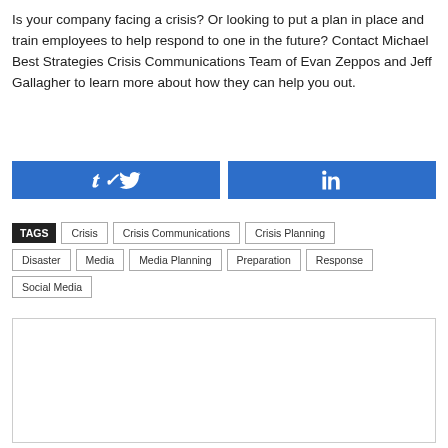Is your company facing a crisis?  Or looking to put a plan in place and train employees to help respond to one in the future? Contact Michael Best Strategies Crisis Communications Team of Evan Zeppos and Jeff Gallagher to learn more about how they can help you out.
[Figure (other): Two social media sharing buttons side by side: Twitter (bird icon) on the left and LinkedIn ('in' icon) on the right, both in blue]
TAGS  Crisis  Crisis Communications  Crisis Planning  Disaster  Media  Media Planning  Preparation  Response  Social Media
[Figure (other): Empty comment/content box with a border]